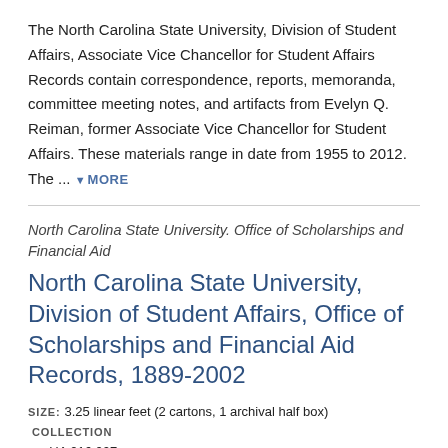The North Carolina State University, Division of Student Affairs, Associate Vice Chancellor for Student Affairs Records contain correspondence, reports, memoranda, committee meeting notes, and artifacts from Evelyn Q. Reiman, former Associate Vice Chancellor for Student Affairs. These materials range in date from 1955 to 2012. The ... MORE
North Carolina State University. Office of Scholarships and Financial Aid
North Carolina State University, Division of Student Affairs, Office of Scholarships and Financial Aid Records, 1889-2002
SIZE: 3.25 linear feet (2 cartons, 1 archival half box)   COLLECTION ID: UA 016.007
The records of the North Carolina State University Office of